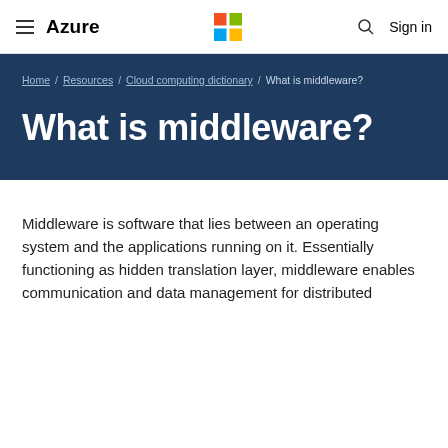Azure — Microsoft — Sign in
Home / Resources / Cloud computing dictionary / What is middleware?
What is middleware?
Middleware is software that lies between an operating system and the applications running on it. Essentially functioning as hidden translation layer, middleware enables communication and data management for distributed